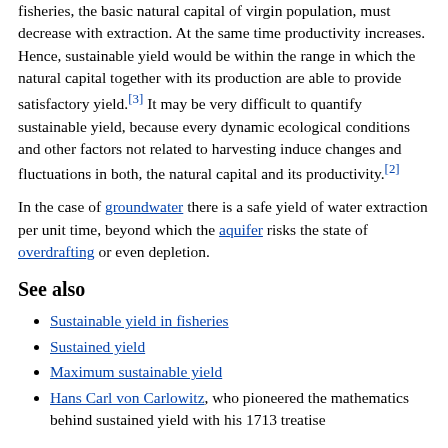fisheries, the basic natural capital of virgin population, must decrease with extraction. At the same time productivity increases. Hence, sustainable yield would be within the range in which the natural capital together with its production are able to provide satisfactory yield.[3] It may be very difficult to quantify sustainable yield, because every dynamic ecological conditions and other factors not related to harvesting induce changes and fluctuations in both, the natural capital and its productivity.[2]
In the case of groundwater there is a safe yield of water extraction per unit time, beyond which the aquifer risks the state of overdrafting or even depletion.
See also
Sustainable yield in fisheries
Sustained yield
Maximum sustainable yield
Hans Carl von Carlowitz, who pioneered the mathematics behind sustained yield with his 1713 treatise
References
^ Wiersum, K. Freerk (May 1995). "200 years of